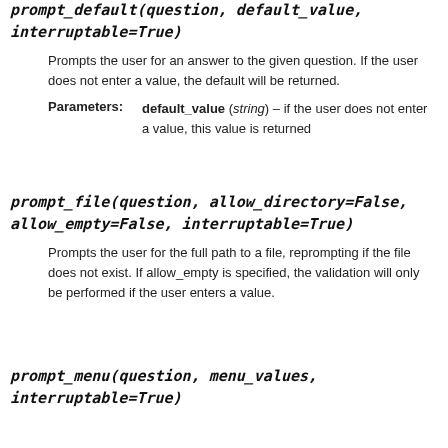prompt_default(question, default_value, interruptable=True)
Prompts the user for an answer to the given question. If the user does not enter a value, the default will be returned.
Parameters: default_value (string) – if the user does not enter a value, this value is returned
prompt_file(question, allow_directory=False, allow_empty=False, interruptable=True)
Prompts the user for the full path to a file, reprompting if the file does not exist. If allow_empty is specified, the validation will only be performed if the user enters a value.
prompt_menu(question, menu_values, interruptable=True)